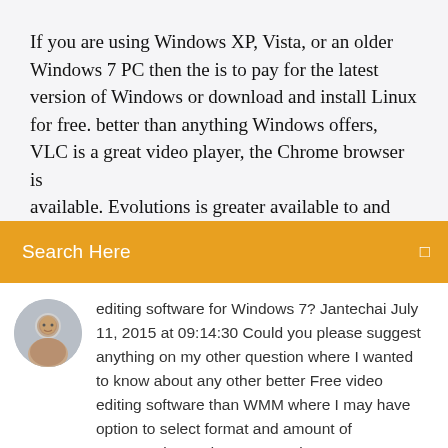If you are using Windows XP, Vista, or an older Windows 7 PC then the is to pay for the latest version of Windows or download and install Linux for free. better than anything Windows offers, VLC is a great video player, the Chrome browser is available. Evolutions is greater available to and GIMP
Search Here
editing software for Windows 7? Jantechai July 11, 2015 at 09:14:30 Could you please suggest anything on my other question where I wanted to know about any other better Free video editing software than WMM where I may have option to select format and amount of compression and more capacity to accommodate